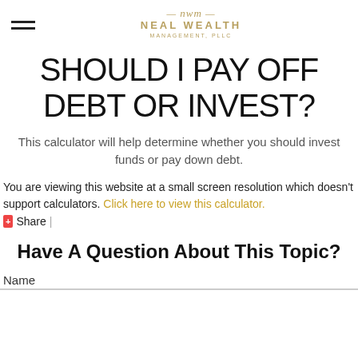Neal Wealth Management, PLLC
SHOULD I PAY OFF DEBT OR INVEST?
This calculator will help determine whether you should invest funds or pay down debt.
You are viewing this website at a small screen resolution which doesn't support calculators. Click here to view this calculator.
Share |
Have A Question About This Topic?
Name